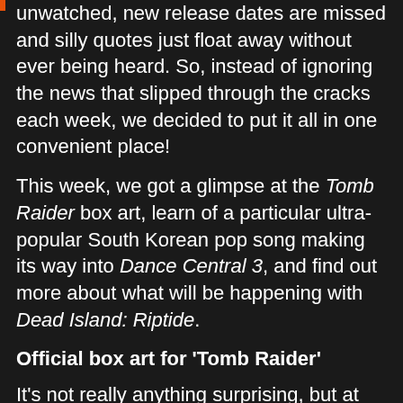unwatched, new release dates are missed and silly quotes just float away without ever being heard. So, instead of ignoring the news that slipped through the cracks each week, we decided to put it all in one convenient place!
This week, we got a glimpse at the Tomb Raider box art, learn of a particular ultra-popular South Korean pop song making its way into Dance Central 3, and find out more about what will be happening with Dead Island: Riptide.
Official box art for ‘Tomb Raider’
It’s not really anything surprising, but at least you know that when they finalize box art the game is on its way to being released.
[Figure (other): Image placeholder/broken image icon]